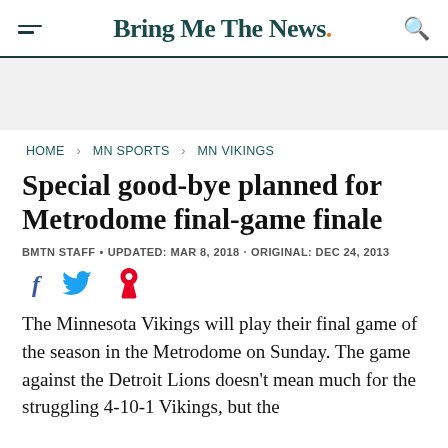Bring Me The News.
HOME > MN SPORTS > MN VIKINGS
Special good-bye planned for Metrodome final-game finale
BMTN STAFF • UPDATED: MAR 8, 2018 · ORIGINAL: DEC 24, 2013
[Figure (infographic): Social sharing icons: Facebook (f), Twitter (bird), Pinterest (P)]
The Minnesota Vikings will play their final game of the season in the Metrodome on Sunday. The game against the Detroit Lions doesn't mean much for the struggling 4-10-1 Vikings, but the